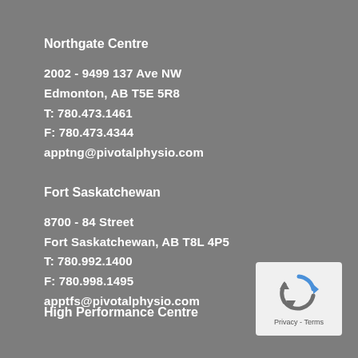Northgate Centre
2002 - 9499 137 Ave NW
Edmonton, AB T5E 5R8
T: 780.473.1461
F: 780.473.4344
apptng@pivotalphysio.com
Fort Saskatchewan
8700 - 84 Street
Fort Saskatchewan, AB T8L 4P5
T: 780.992.1400
F: 780.998.1495
apptfs@pivotalphysio.com
High Performance Centre
[Figure (logo): reCAPTCHA logo badge with Privacy - Terms text]